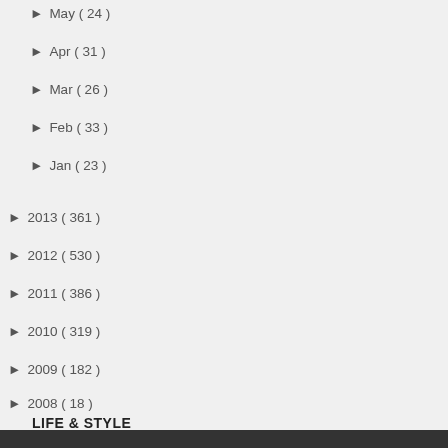► May ( 24 )
► Apr ( 31 )
► Mar ( 26 )
► Feb ( 33 )
► Jan ( 23 )
► 2013 ( 361 )
► 2012 ( 530 )
► 2011 ( 386 )
► 2010 ( 319 )
► 2009 ( 182 )
► 2008 ( 18 )
LIFE & STYLE